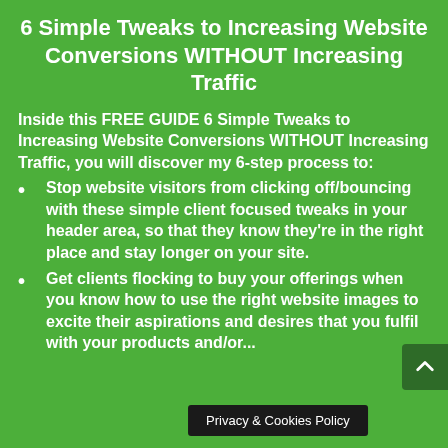6 Simple Tweaks to Increasing Website Conversions WITHOUT Increasing Traffic
Inside this FREE GUIDE 6 Simple Tweaks to Increasing Website Conversions WITHOUT Increasing Traffic, you will discover my 6-step process to:
Stop website visitors from clicking off/bouncing with these simple client focused tweaks in your header area, so that they know they're in the right place and stay longer on your site.
Get clients flocking to buy your offerings when you know how to use the right website images to excite their aspirations and desires that you fulfil with your products and/or...
Privacy & Cookies Policy